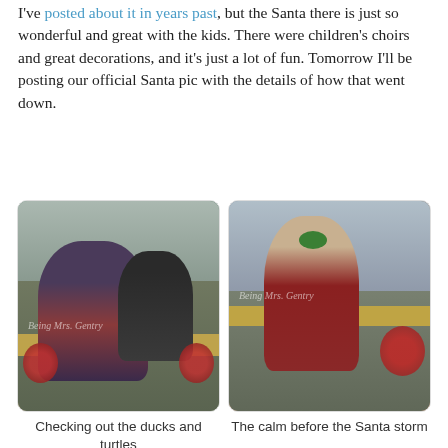I've posted about it in years past, but the Santa there is just so wonderful and great with the kids. There were children's choirs and great decorations, and it's just a lot of fun. Tomorrow I'll be posting our official Santa pic with the details of how that went down.
[Figure (photo): Two young children leaning on a wooden railing, viewed from behind/side, in a holiday decorated indoor space with poinsettias visible. Child in red plaid dress and child in dark outfit.]
[Figure (photo): A young toddler girl in a red plaid dress with a large green bow in her hair, standing and leaning on a wooden railing in a holiday decorated indoor space with poinsettias.]
Checking out the ducks and turtles
The calm before the Santa storm